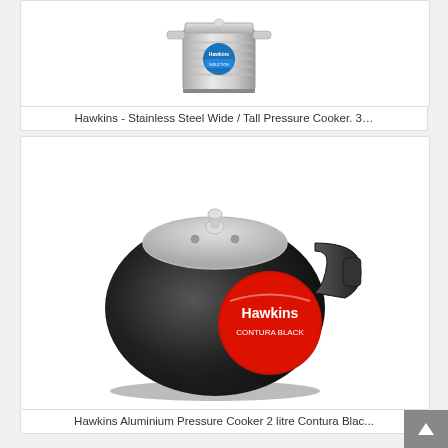[Figure (photo): Hawkins stainless steel wide/tall pressure cooker with blue Hawkins brand label and induction base, silver metallic body, shown on white background]
Hawkins - Stainless Steel Wide / Tall Pressure Cooker. 3…
[Figure (photo): Hawkins Contura Black aluminium pressure cooker with black matte finish body, silver lid, black handle, and red Hawkins Contura Black logo/label on the front]
Hawkins Aluminium Pressure Cooker 2 litre Contura Blac...